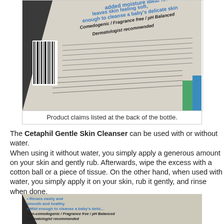[Figure (photo): Photo of the back of a Cetaphil Gentle Skin Cleanser bottle showing product claims text at an angle, including 'Comedogenic / Fragrance free / pH Balanced', 'Dermatologist recommended', barcode visible, blue and white coloring.]
Product claims listed at the back of the bottle.
The Cetaphil Gentle Skin Cleanser can be used with or without water.
When using it without water, you simply apply a generous amount on your skin and gently rub. Afterwards, wipe the excess with a cotton ball or a piece of tissue. On the other hand, when used with water, you simply apply it on your skin, rub it gently, and rinse when done.
[Figure (photo): Close-up photo of Cetaphil Gentle Skin Cleanser label showing bullet points: 'Rinses easily and smooth and healthy', 'Mild enough to cleanse a baby's delicate skin', 'Non-comedogenic / Fragrance free / pH Balanced', 'Dermatologist recommended', and directions for use without water and ingredients list partially visible.]